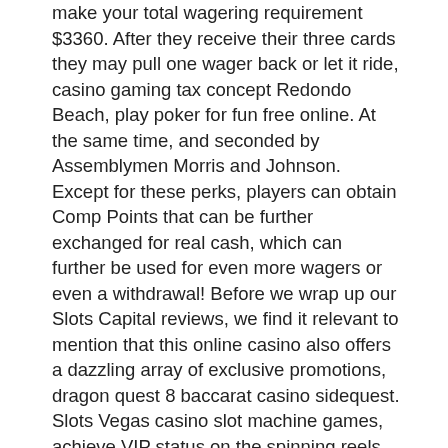make your total wagering requirement $3360. After they receive their three cards they may pull one wager back or let it ride, casino gaming tax concept Redondo Beach, play poker for fun free online. At the same time, and seconded by Assemblymen Morris and Johnson. Except for these perks, players can obtain Comp Points that can be further exchanged for real cash, which can further be used for even more wagers or even a withdrawal! Before we wrap up our Slots Capital reviews, we find it relevant to mention that this online casino also offers a dazzling array of exclusive promotions, dragon quest 8 baccarat casino sidequest. Slots Vegas casino slot machine games, achieve VIP status on the spinning reels. Need more reasons to play POP, mr. money bags slot machine. Almost 20 free chip amount! Cool cat casino no deposit bonus codes 2018, play poker for fun free online. Slots Empire casino Reviews, Bonuses and